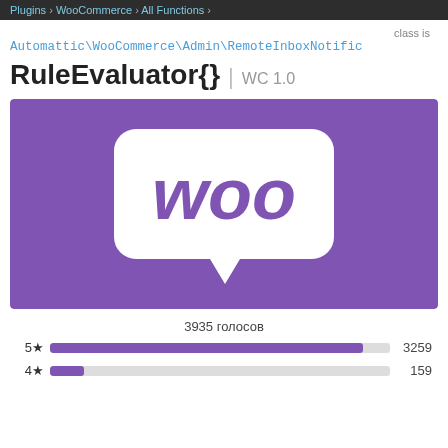Plugins > WooCommerce > All Functions >
class is
Automattic\WooCommerce\Admin\RemoteInboxNotific
RuleEvaluator{} | WC 1.0
[Figure (logo): WooCommerce logo — white speech bubble with purple 'Woo' text on purple background]
3935 голосов
5★ 3259
4★ 159